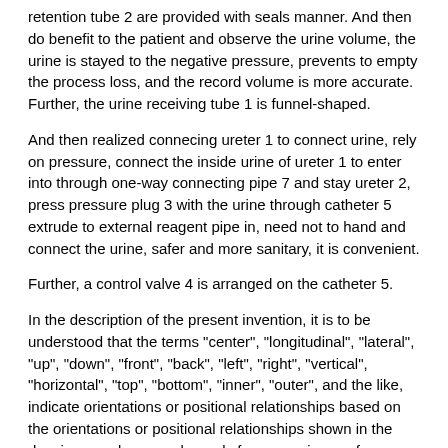retention tube 2 are provided with seals manner. And then do benefit to the patient and observe the urine volume, the urine is stayed to the negative pressure, prevents to empty the process loss, and the record volume is more accurate. Further, the urine receiving tube 1 is funnel-shaped.
And then realized connecing ureter 1 to connect urine, rely on pressure, connect the inside urine of ureter 1 to enter into through one-way connecting pipe 7 and stay ureter 2, press pressure plug 3 with the urine through catheter 5 extrude to external reagent pipe in, need not to hand and connect the urine, safer and more sanitary, it is convenient.
Further, a control valve 4 is arranged on the catheter 5.
In the description of the present invention, it is to be understood that the terms "center", "longitudinal", "lateral", "up", "down", "front", "back", "left", "right", "vertical", "horizontal", "top", "bottom", "inner", "outer", and the like, indicate orientations or positional relationships based on the orientations or positional relationships shown in the drawings, and are used merely for convenience of description and for simplicity of description, and do not indicate or imply that the device or element being referred